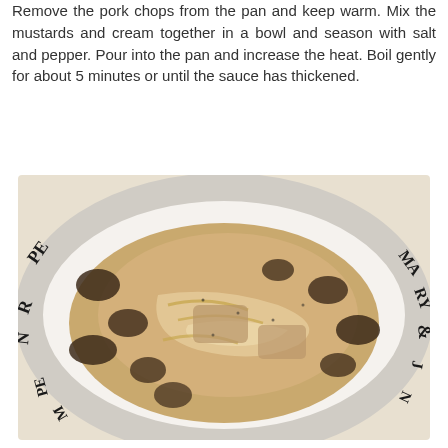Remove the pork chops from the pan and keep warm. Mix the mustards and cream together in a bowl and season with salt and pepper. Pour into the pan and increase the heat. Boil gently for about 5 minutes or until the sauce has thickened.
[Figure (photo): A white ceramic plate with text around the rim (partially visible words including ROSEMARY & and PE), containing pork chops cooked in a creamy mustard sauce with mushrooms and onions.]